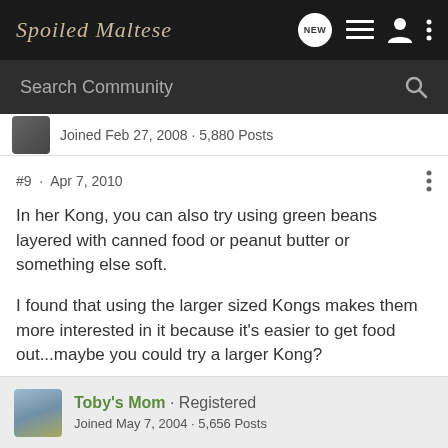Spoiled Maltese
Search Community
Joined Feb 27, 2008 · 5,880 Posts
#9 · Apr 7, 2010
In her Kong, you can also try using green beans layered with canned food or peanut butter or something else soft.
I found that using the larger sized Kongs makes them more interested in it because it's easier to get food out...maybe you could try a larger Kong?
Toby's Mom · Registered
Joined May 7, 2004 · 5,656 Posts